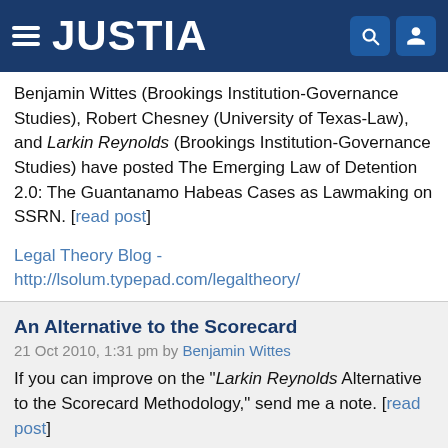JUSTIA
Benjamin Wittes (Brookings Institution-Governance Studies), Robert Chesney (University of Texas-Law), and Larkin Reynolds (Brookings Institution-Governance Studies) have posted The Emerging Law of Detention 2.0: The Guantanamo Habeas Cases as Lawmaking on SSRN. [read post]
Legal Theory Blog - http://lsolum.typepad.com/legaltheory/
An Alternative to the Scorecard
21 Oct 2010, 1:31 pm by Benjamin Wittes
If you can improve on the "Larkin Reynolds Alternative to the Scorecard Methodology," send me a note. [read post]